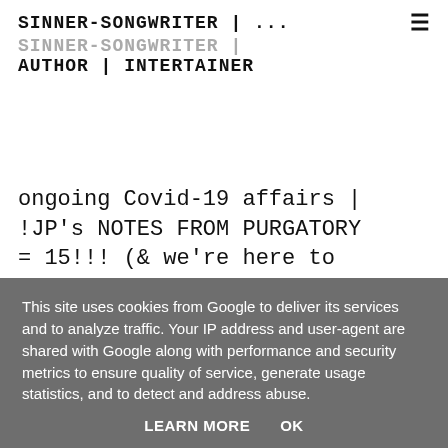SINNER-SONGWRITER | ... AUTHOR | INTERTAINER
ongoing Covid-19 affairs | !JP's NOTES FROM PURGATORY = 15!!! (& we're here to celebrate) (& The "W"-d"
This site uses cookies from Google to deliver its services and to analyze traffic. Your IP address and user-agent are shared with Google along with performance and security metrics to ensure quality of service, generate usage statistics, and to detect and address abuse.
LEARN MORE   OK